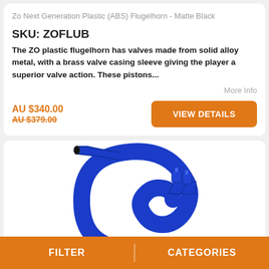Zo Next Generation Plastic (ABS) Flugelhorn - Matte Black
SKU: ZOFLUB
The ZO plastic flugelhorn has valves made from solid alloy metal, with a brass valve casing sleeve giving the player a superior valve action. These pistons...
More Info
AU $340.00
AU $379.00
VIEW DETAILS
[Figure (photo): Blue ZO plastic flugelhorn instrument, partially visible at bottom of page]
FILTER  |  CATEGORIES